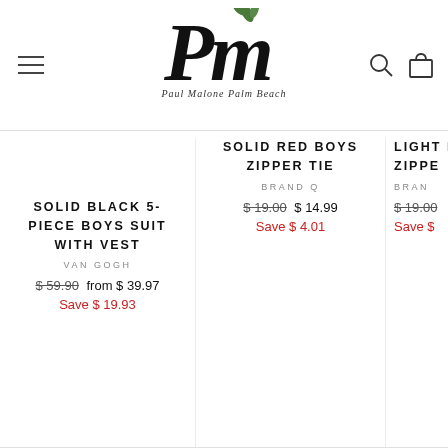[Figure (logo): Paul Malone Palm Beach script logo with PM initials and leaf/palm decoration]
SOLID BLACK 5-PIECE BOYS SUIT WITH VEST
VAN GOGH
$ 59.90  from $ 39.97
Save $ 19.93
SOLID RED BOYS ZIPPER TIE
BRAND Q
$ 19.00  $ 14.99
Save $ 4.01
LIGHT BLU ZIPPE
BRAN
$ 19.00
Save $